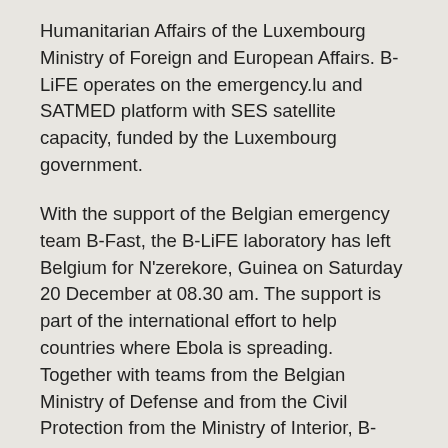Humanitarian Affairs of the Luxembourg Ministry of Foreign and European Affairs. B-LiFE operates on the emergency.lu and SATMED platform with SES satellite capacity, funded by the Luxembourg government.
With the support of the Belgian emergency team B-Fast, the B-LiFE laboratory has left Belgium for N'zerekore, Guinea on Saturday 20 December at 08.30 am. The support is part of the international effort to help countries where Ebola is spreading. Together with teams from the Belgian Ministry of Defense and from the Civil Protection from the Ministry of Interior, B-FAST will be responsible for the logistics support. The B-LiFE/B-FAST mission will be deployed to support an Ebola treatment center which has been installed in N'Zerekore by the French Non-Government Organisation ALIMA. The EU Copernicus